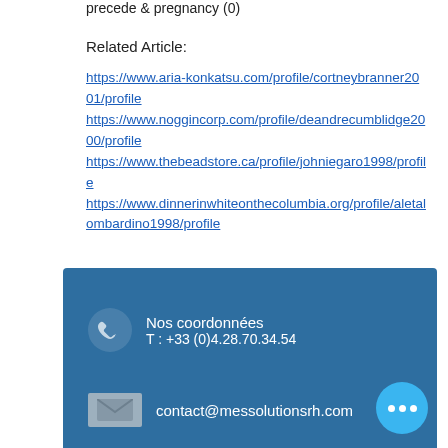precede & pregnancy (0)
Related Article:
https://www.aria-konkatsu.com/profile/cortneybranner2001/profile https://www.noggincorp.com/profile/deandrecumblidge2000/profile https://www.thebeadstore.ca/profile/johniegarо1998/profile https://www.dinnerinwhiteonthecolumbia.org/profile/aletalombardino1998/profile
Nos coordonnées
T : +33 (0)4.28.70.34.54
contact@messolutionsrh.com